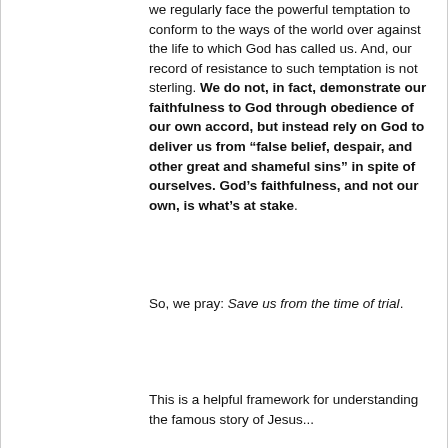we regularly face the powerful temptation to conform to the ways of the world over against the life to which God has called us. And, our record of resistance to such temptation is not sterling. We do not, in fact, demonstrate our faithfulness to God through obedience of our own accord, but instead rely on God to deliver us from “false belief, despair, and other great and shameful sins” in spite of ourselves. God’s faithfulness, and not our own, is what’s at stake.
So, we pray: Save us from the time of trial.
This is a helpful framework for understanding the famous story of Jesus...